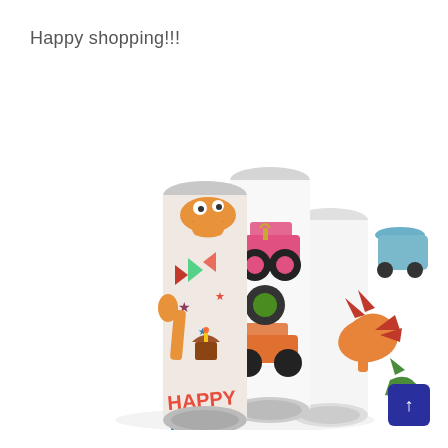Happy shopping!!!
[Figure (photo): Three rolls of colorful children's wrapping paper featuring cartoon monsters, monster trucks, and dinosaurs on white/pink backgrounds, displayed fanned out against a white background.]
[Figure (other): Dark blue/navy scroll-to-top button with upward arrow in the bottom right corner.]